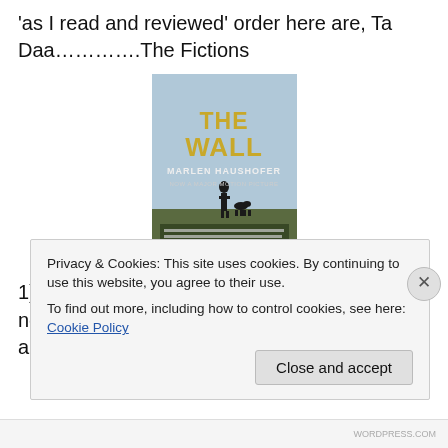'as I read and reviewed' order here are, Ta Daa……………The Fictions
[Figure (illustration): Book cover of 'The Wall' by Marlen Haushofer. Dark gold/yellow text reads THE WALL at top, MARLEN HAUSHOFER below, NOW A MAJOR MOTION PICTURE tagline. Silhouette of a person and a dog standing in a field against a light sky background.]
1) The Wall. Marlen Haushofer. This has nothing to do with Pink Floyd, though it was also made into a film!
Privacy & Cookies: This site uses cookies. By continuing to use this website, you agree to their use.
To find out more, including how to control cookies, see here: Cookie Policy
Close and accept